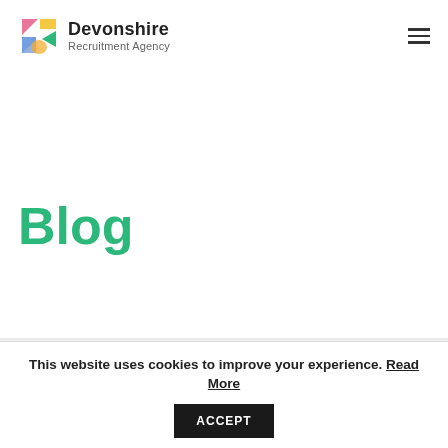Devonshire Recruitment Agency
Blog
Home > Blog > 7 ways to thrive as a freelancer
This website uses cookies to improve your experience. Read More  ACCEPT